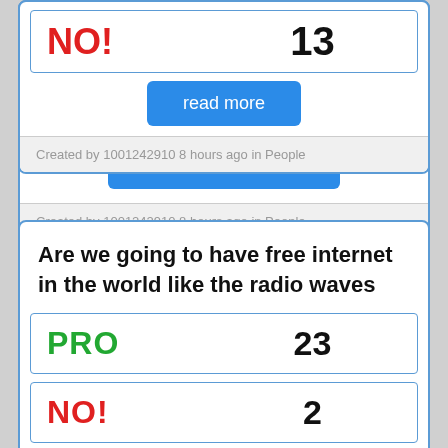[Figure (screenshot): Partial top card showing NO! vote with count 13 and a read more button, and meta bar with Created by 1001242910 8 hours ago in People]
NO!
13
read more
Created by 1001242910 8 hours ago in People
Are we going to have free internet in the world like the radio waves
PRO
23
NO!
2
read more